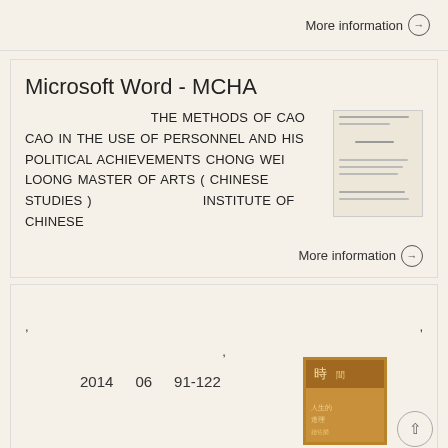More information →
Microsoft Word - MCHA
THE METHODS OF CAO CAO IN THE USE OF PERSONNEL AND HIS POLITICAL ACHIEVEMENTS CHONG WEI LOONG MASTER OF ARTS ( CHINESE STUDIES )                    INSTITUTE OF CHINESE
[Figure (other): Thumbnail of a document page with several lines of small text]
More information →
,                                              ,
,
2014   06      91-122
[Figure (other): Book cover thumbnail with Chinese characters, brown and gold tones]